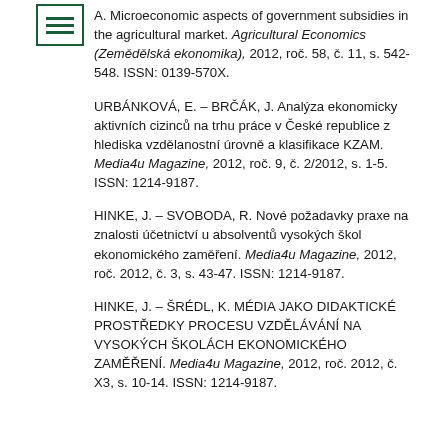A. Microeconomic aspects of government subsidies in the agricultural market. Agricultural Economics (Zemědělská ekonomika), 2012, roč. 58, č. 11, s. 542-548. ISSN: 0139-570X.
URBÁNKOVÁ, E. – BRČÁK, J. Analýza ekonomicky aktivních cizinců na trhu práce v České republice z hlediska vzdělanostní úrovně a klasifikace KZAM. Media4u Magazine, 2012, roč. 9, č. 2/2012, s. 1-5. ISSN: 1214-9187.
HINKE, J. – SVOBODA, R. Nové požadavky praxe na znalosti účetnictví u absolventů vysokých škol ekonomického zaměření. Media4u Magazine, 2012, roč. 2012, č. 3, s. 43-47. ISSN: 1214-9187.
HINKE, J. – ŠRÉDL, K. MÉDIA JAKO DIDAKTICKÉ PROSTŘEDKY PROCESU VZDĚLÁVÁNÍ NA VYSOKÝCH ŠKOLÁCH EKONOMICKÉHO ZAMĚŘENÍ. Media4u Magazine, 2012, roč. 2012, č. X3, s. 10-14. ISSN: 1214-9187.